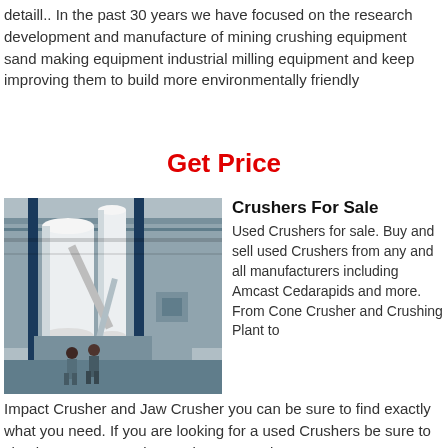detaill.. In the past 30 years we have focused on the research development and manufacture of mining crushing equipment sand making equipment industrial milling equipment and keep improving them to build more environmentally friendly
Get Price
[Figure (photo): Industrial milling/crushing equipment facility with large white silos, pipes, and machinery. Two workers visible in foreground.]
Crushers For Sale
Used Crushers for sale. Buy and sell used Crushers from any and all manufacturers including Amcast Cedarapids and more. From Cone Crusher and Crushing Plant to Impact Crusher and Jaw Crusher you can be sure to find exactly what you need. If you are looking for a used Crushers be sure to check out our upcoming equipment auctions.